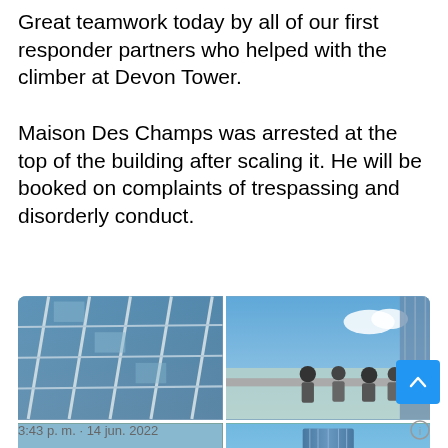Great teamwork today by all of our first responder partners who helped with the climber at Devon Tower.

Maison Des Champs was arrested at the top of the building after scaling it. He will be booked on complaints of trespassing and disorderly conduct.
[Figure (photo): Four-photo grid showing Devon Tower building exterior (glass panels and steel cables), group of officers/responders at the top of the building with cityscape visible, ground-level scene with responders and vehicles near trees, and a distant view of Devon Tower skyscraper surrounded by green trees.]
3:43 p. m. · 14 jun. 2022